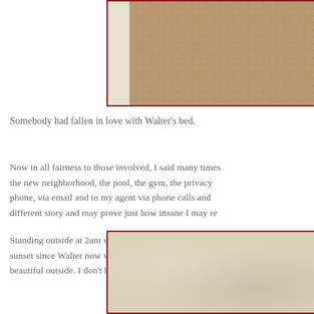[Figure (photo): Top portion of a photo showing a carpet/rug texture in brown/tan tones with a white wood corner piece visible on the left side. Photo has a dark red border.]
Somebody had fallen in love with Walter's bed.
Now in all fairness to those involved, I said many times the new neighborhood, the pool, the gym, the privacy phone, via email and to my agent via phone calls and different story and may prove just how insane I may re
Standing outside at 2am while Heidi relieves her blad sunset since Walter now wakes us up at 5am instead beautiful outside. I don't have the money to get this vie
[Figure (photo): Bottom portion of a photo showing a cream/beige leather or textured wall surface. Photo has a dark red border.]